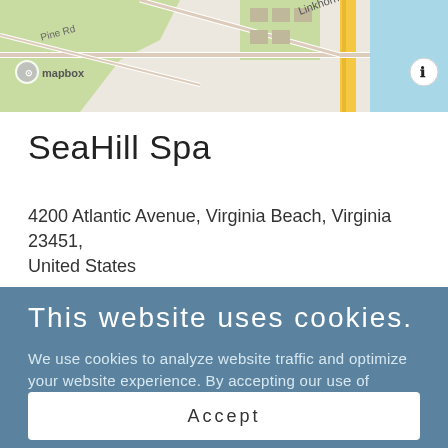[Figure (map): Mapbox map showing Atlantic Ave area in Virginia Beach, with road labels including Linkhorn Dr, Atlantic Ave, and Pine Rd visible. Info button in top right corner.]
SeaHill Spa
4200 Atlantic Avenue, Virginia Beach, Virginia 23451, United States
This website uses cookies.
We use cookies to analyze website traffic and optimize your website experience. By accepting our use of cookies, your data will be aggregated with all other user data.
Accept